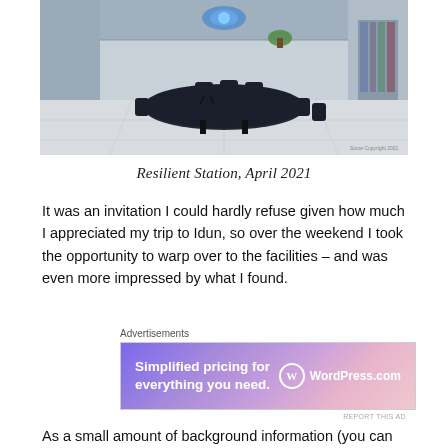[Figure (illustration): Sci-fi interior of a space station conference room with black chairs around a dark table, futuristic environment with blue lighting accents]
Resilient Station, April 2021
It was an invitation I could hardly refuse given how much I appreciated my trip to Idun, so over the weekend I took the opportunity to warp over to the facilities – and was even more impressed by what I found.
[Figure (other): Advertisement banner: 'Simplified pricing for everything you need.' WordPress.com]
As a small amount of background information (you can find more at the Blushock coalition website), the focus of the group is the Vanaheim star system located in the